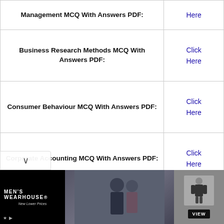| Topic | Link |
| --- | --- |
| Management MCQ With Answers PDF: | Click Here |
| Business Research Methods MCQ With Answers PDF: | Click Here |
| Consumer Behaviour MCQ With Answers PDF: | Click Here |
| Corporate Accounting MCQ With Answers PDF: | Click Here |
| Cost Accounting MCQ With Answers PDF: | Click Here |
[Figure (screenshot): Advertisement for Men's Wearhouse featuring a couple in formalwear with a mannequin and VIEW button]